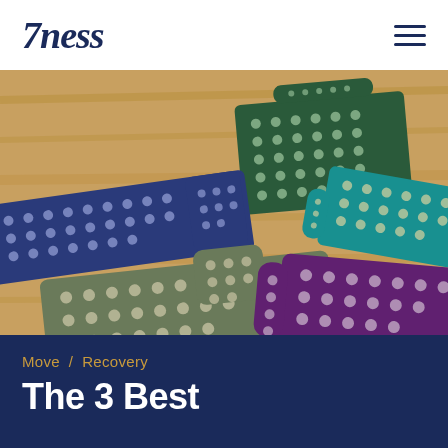7ness [logo] with hamburger menu
[Figure (photo): Multiple acupressure mats with spike patterns arranged on a wooden floor. Colors include dark green, blue, teal, olive/grey, and purple. Each mat has a matching small pillow/bolster covered in the same spike pattern.]
Move / Recovery
The 3 Best